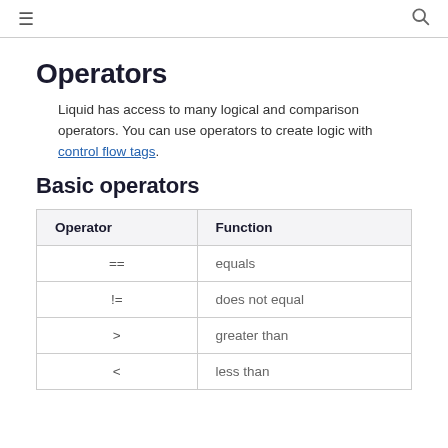≡  🔍
Operators
Liquid has access to many logical and comparison operators. You can use operators to create logic with control flow tags.
Basic operators
| Operator | Function |
| --- | --- |
| == | equals |
| != | does not equal |
| > | greater than |
| < | less than |